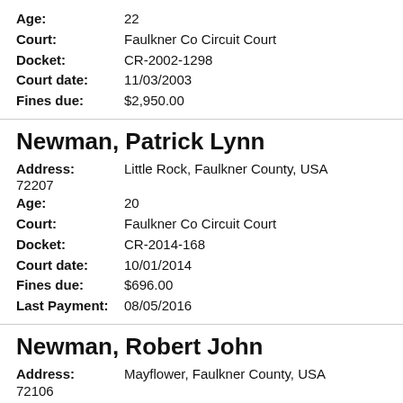Age: 22
Court: Faulkner Co Circuit Court
Docket: CR-2002-1298
Court date: 11/03/2003
Fines due: $2,950.00
Newman, Patrick Lynn
Address: Little Rock, Faulkner County, USA 72207
Age: 20
Court: Faulkner Co Circuit Court
Docket: CR-2014-168
Court date: 10/01/2014
Fines due: $696.00
Last Payment: 08/05/2016
Newman, Robert John
Address: Mayflower, Faulkner County, USA 72106
Age: 40
Court: Faulkner Co Circuit Court
Docket: CR-2018-337